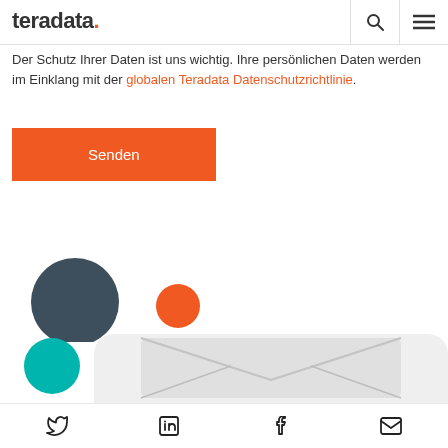teradata.
Der Schutz Ihrer Daten ist uns wichtig. Ihre persönlichen Daten werden im Einklang mit der globalen Teradata Datenschutzrichtlinie.
[Figure (other): Orange 'Senden' (Send) submit button]
[Figure (illustration): Decorative circles - dark grey large circle and small orange circle]
[Figure (illustration): Teal circle and large envelope illustration on grey rounded background]
Twitter, LinkedIn, Facebook, Email social share icons